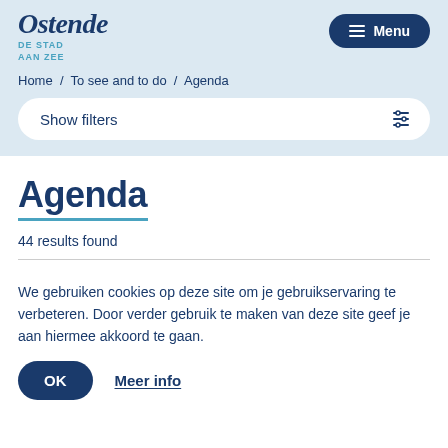[Figure (logo): Ostende city logo with text 'DE STAD AAN ZEE']
Home / To see and to do / Agenda
Show filters
Agenda
44 results found
We gebruiken cookies op deze site om je gebruikservaring te verbeteren. Door verder gebruik te maken van deze site geef je aan hiermee akkoord te gaan.
OK
Meer info